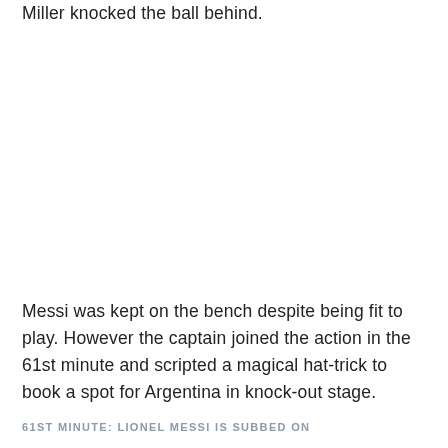Miller knocked the ball behind.
Messi was kept on the bench despite being fit to play. However the captain joined the action in the 61st minute and scripted a magical hat-trick to book a spot for Argentina in knock-out stage.
61ST MINUTE: LIONEL MESSI IS SUBBED ON